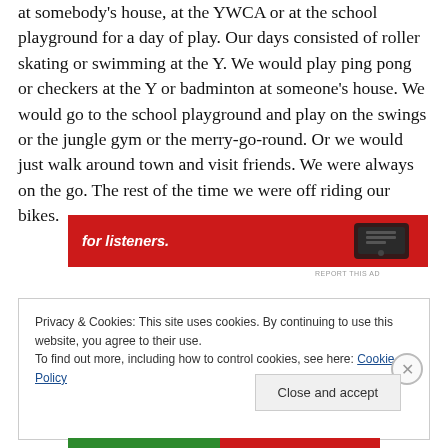at somebody's house, at the YWCA or at the school playground for a day of play. Our days consisted of roller skating or swimming at the Y. We would play ping pong or checkers at the Y or badminton at someone's house. We would go to the school playground and play on the swings or the jungle gym or the merry-go-round. Or we would just walk around town and visit friends. We were always on the go. The rest of the time we were off riding our bikes.
[Figure (other): Red advertisement banner with white italic bold text 'for listeners.' and a partial image of a device on the right side]
REPORT THIS AD
Privacy & Cookies: This site uses cookies. By continuing to use this website, you agree to their use.
To find out more, including how to control cookies, see here: Cookie Policy